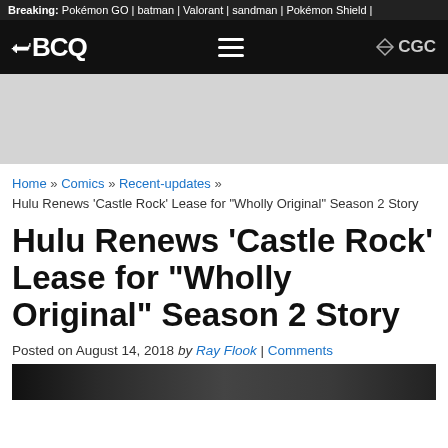Breaking: Pokémon GO | batman | Valorant | sandman | Pokémon Shield |
[Figure (logo): Navigation bar with BCQ logo on left, hamburger menu in center, CGC logo on right]
[Figure (photo): Gray advertisement block]
Home » Comics » Recent-updates » Hulu Renews 'Castle Rock' Lease for "Wholly Original" Season 2 Story
Hulu Renews 'Castle Rock' Lease for "Wholly Original" Season 2 Story
Posted on August 14, 2018 by Ray Flook | Comments
[Figure (photo): Dark textured image at bottom of page]